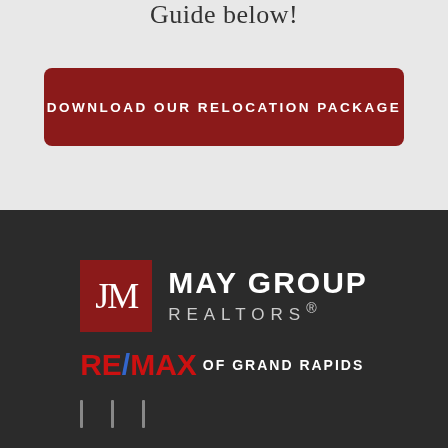Guide below!
DOWNLOAD OUR RELOCATION PACKAGE
[Figure (logo): May Group Realtors RE/MAX of Grand Rapids logo on dark background with JM red square icon]
MAY GROUP REALTORS®
RE/MAX OF GRAND RAPIDS